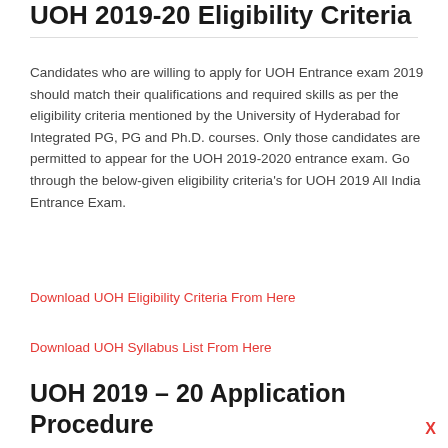UOH 2019-20 Eligibility Criteria
Candidates who are willing to apply for UOH Entrance exam 2019 should match their qualifications and required skills as per the eligibility criteria mentioned by the University of Hyderabad for Integrated PG, PG and Ph.D. courses. Only those candidates are permitted to appear for the UOH 2019-2020 entrance exam. Go through the below-given eligibility criteria's for UOH 2019 All India Entrance Exam.
Download UOH Eligibility Criteria From Here
Download UOH Syllabus List From Here
UOH 2019 – 20 Application Procedure